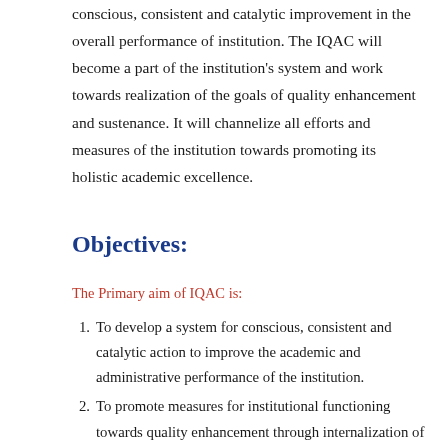conscious, consistent and catalytic improvement in the overall performance of institution. The IQAC will become a part of the institution's system and work towards realization of the goals of quality enhancement and sustenance. It will channelize all efforts and measures of the institution towards promoting its holistic academic excellence.
Objectives:
The Primary aim of IQAC is:
To develop a system for conscious, consistent and catalytic action to improve the academic and administrative performance of the institution.
To promote measures for institutional functioning towards quality enhancement through internalization of quality culture and